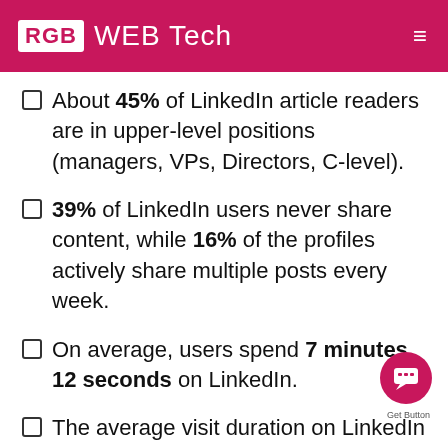RGB WEB Tech
About 45% of LinkedIn article readers are in upper-level positions (managers, VPs, Directors, C-level).
39% of LinkedIn users never share content, while 16% of the profiles actively share multiple posts every week.
On average, users spend 7 minutes 12 seconds on LinkedIn.
The average visit duration on LinkedIn is